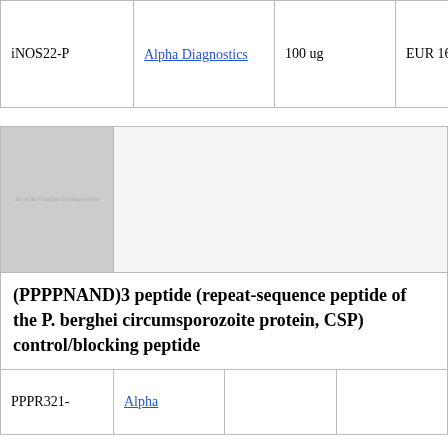| Product | Supplier | Amount | Price |
| --- | --- | --- | --- |
| iNOS22-P | Alpha Diagnostics | 100 ug | EUR 164 |
[Figure (other): Placeholder/watermark image for (PPPPNAND)3 peptide product]
(PPPPNAND)3 peptide (repeat-sequence peptide of the P. berghei circumsporozoite protein, CSP) control/blocking peptide
| Product | Supplier | Amount | Price |
| --- | --- | --- | --- |
| PPPR321- | Alpha |  |  |